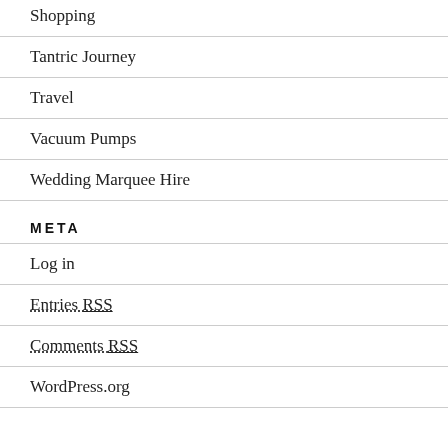Shopping
Tantric Journey
Travel
Vacuum Pumps
Wedding Marquee Hire
META
Log in
Entries RSS
Comments RSS
WordPress.org